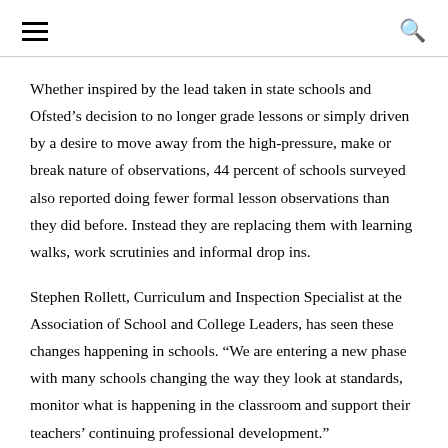[hamburger menu] [search icon]
Whether inspired by the lead taken in state schools and Ofsted’s decision to no longer grade lessons or simply driven by a desire to move away from the high-pressure, make or break nature of observations, 44 percent of schools surveyed also reported doing fewer formal lesson observations than they did before. Instead they are replacing them with learning walks, work scrutinies and informal drop ins.
Stephen Rollett, Curriculum and Inspection Specialist at the Association of School and College Leaders, has seen these changes happening in schools. “We are entering a new phase with many schools changing the way they look at standards, monitor what is happening in the classroom and support their teachers’ continuing professional development.”